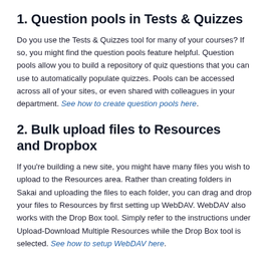1. Question pools in Tests & Quizzes
Do you use the Tests & Quizzes tool for many of your courses?  If so, you might find the question pools feature helpful.  Question pools allow you to build a repository of quiz questions that you can use to automatically populate quizzes.  Pools can be accessed across all of your sites, or even shared with colleagues in your department.  See how to create question pools here.
2. Bulk upload files to Resources and Dropbox
If you're building a new site, you might have many files you wish to upload to the Resources area.  Rather than creating folders in Sakai and uploading the files to each folder, you can drag and drop your files to Resources by first setting up WebDAV.  WebDAV also works with the Drop Box tool.  Simply refer to the instructions under Upload-Download Multiple Resources while the Drop Box tool is selected.  See how to setup WebDAV here.